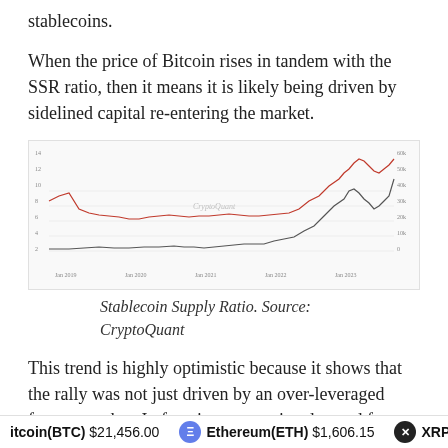stablecoins.
When the price of Bitcoin rises in tandem with the SSR ratio, then it means it is likely being driven by sidelined capital re-entering the market.
[Figure (continuous-plot): Line chart showing Bitcoin price and Stablecoin Supply Ratio (SSR) over time, with watermarked source CryptoQuant. Two lines: a darker lower line and a red/orange upper line that rises sharply at the right side.]
Stablecoin Supply Ratio. Source: CryptoQuant
This trend is highly optimistic because it shows that the rally was not just driven by an over-leveraged futures market. In fact, it was genuine demand from the spot
itcoin(BTC) $21,456.00   Ethereum(ETH) $1,606.15   XRP(XR